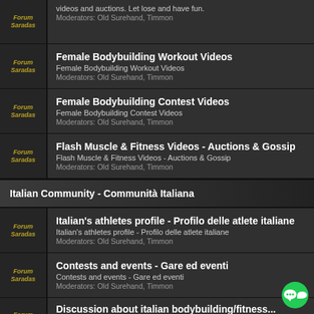videos and auctions. Let lose and have fun. Moderators: Old Surehand, Timmon
Female Bodybuilding Workout Videos
Female Bodybuilding Workout Videos
Moderators: Old Surehand, Timmon
Female Bodybuilding Contest Videos
Female Bodybuilding Contest Videos
Moderators: Old Surehand, Timmon
Flash Muscle & Fitness Videos - Auctions & Gossip
Flash Muscle & Fitness Videos - Auctions & Gossip
Moderators: Old Surehand, Timmon
Italian Community - Communità Italiana
Italian's athletes profile - Profilo delle atlete italiane
Italian's athletes profile - Profilo delle atlete italiane
Moderators: Old Surehand, Timmon
Contests and events - Gare ed eventi
Contests and events - Gare ed eventi
Moderators: Old Surehand, Timmon
Discussion about italian bodybuilding/fitness...
Discussione sul bodybuilding e sul fitness femmini...